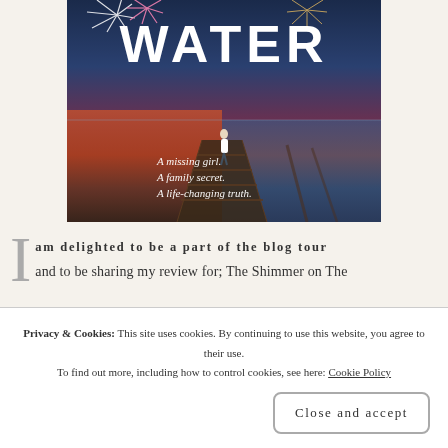[Figure (illustration): Book cover image showing title 'WATER' in large white bold text over a twilight beach scene with fireworks, a pier, and a girl standing on the pier. Taglines: 'A missing girl. A family secret. A life-changing truth.']
I am delighted to be a part of the blog tour and to be sharing my review for; The Shimmer on The
Privacy & Cookies: This site uses cookies. By continuing to use this website, you agree to their use.
To find out more, including how to control cookies, see here: Cookie Policy
Close and accept